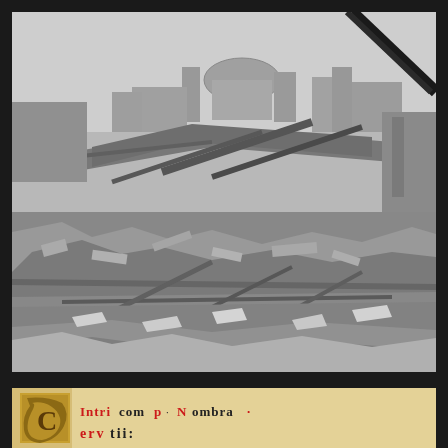[Figure (photo): Black and white photograph of war destruction/bombing rubble. Collapsed buildings, broken timber beams, and debris fill the foreground. In the background, a domed building and other structures are visible. A dark diagonal object (possibly a gun barrel or pole) crosses the upper right of the frame.]
[Figure (photo): Fragment of an illuminated medieval manuscript page. Decorative Gothic blackletter text in red and black ink on yellowed parchment. Red capital letters and black Gothic script visible, with decorative illuminated initial on the left side.]